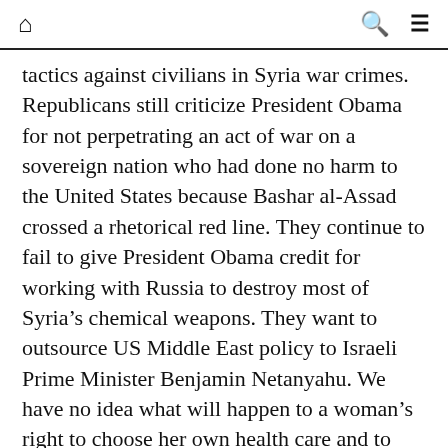🏠 🔍 ☰
tactics against civilians in Syria war crimes. Republicans still criticize President Obama for not perpetrating an act of war on a sovereign nation who had done no harm to the United States because Bashar al-Assad crossed a rhetorical red line. They continue to fail to give President Obama credit for working with Russia to destroy most of Syria's chemical weapons. They want to outsource US Middle East policy to Israeli Prime Minister Benjamin Netanyahu. We have no idea what will happen to a woman's right to choose her own health care and to LGBT rights when Trump makes his appointments to the many vacancies in the federal judiciary, including the Supreme Court.